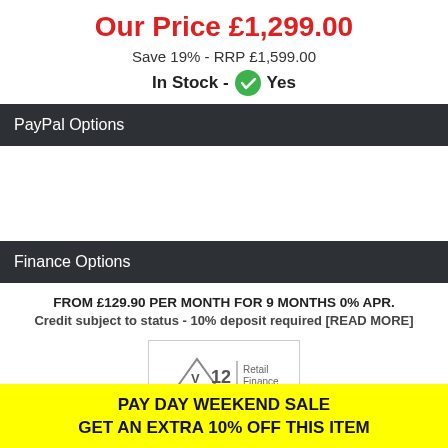Our Price £1,299.00
Save 19% - RRP £1,599.00
In Stock - Yes
PayPal Options
Finance Options
FROM £129.90 PER MONTH FOR 9 MONTHS 0% APR.
Credit subject to status - 10% deposit required [READ MORE]
[Figure (logo): V12 Retail Finance logo]
PALLET DELIVERY 2 - 3 WORKING DAYS
PAY DAY WEEKEND SALE
GET AN EXTRA 10% OFF THIS ITEM